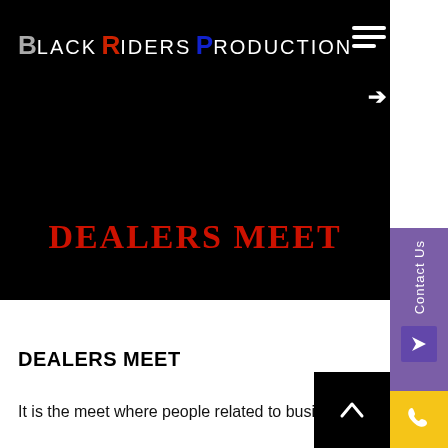Black Riders Production
DEALERS MEET
DEALERS MEET
It is the meet where people related to business,